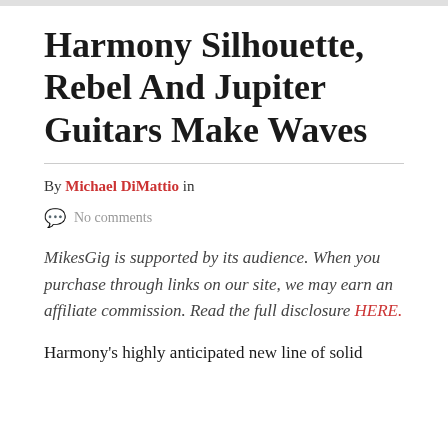Harmony Silhouette, Rebel And Jupiter Guitars Make Waves
By Michael DiMattio in
No comments
MikesGig is supported by its audience. When you purchase through links on our site, we may earn an affiliate commission. Read the full disclosure HERE.
Harmony's highly anticipated new line of solid